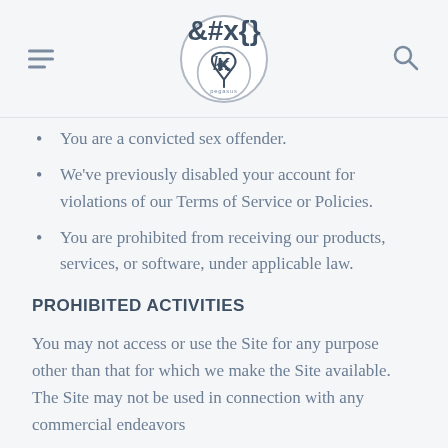Pegasus logo and navigation
You are a convicted sex offender.
We've previously disabled your account for violations of our Terms of Service or Policies.
You are prohibited from receiving our products, services, or software, under applicable law.
PROHIBITED ACTIVITIES
You may not access or use the Site for any purpose other than that for which we make the Site available. The Site may not be used in connection with any commercial endeavors